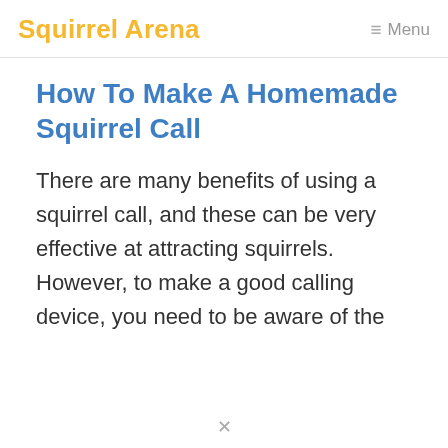Squirrel Arena  ≡ Menu
How To Make A Homemade Squirrel Call
There are many benefits of using a squirrel call, and these can be very effective at attracting squirrels. However, to make a good calling device, you need to be aware of the